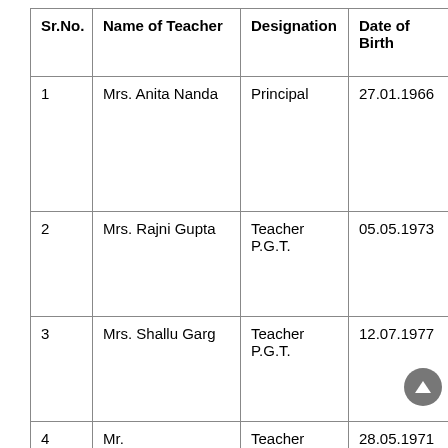| Sr.No. | Name of Teacher | Designation | Date of Birth | Joining date of Teacher the sch… |
| --- | --- | --- | --- | --- |
| 1 | Mrs. Anita Nanda | Principal | 27.01.1966 | 02.05.1… |
| 2 | Mrs. Rajni Gupta | Teacher P.G.T. | 05.05.1973 | 01.04.2… |
| 3 | Mrs. Shallu Garg | Teacher P.G.T. | 12.07.1977 | 16.07.2… |
| 4 | Mr. Krishan Kant Joshi | Teacher P.G.T. | 28.05.1971 | 01.04.2… |